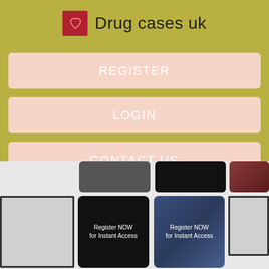Drug cases uk
REGISTER
LOGIN
CONTACT US
[Figure (screenshot): Grid of thumbnail images below navigation menu, some showing 'Register NOW for Instant Access' text on dark backgrounds]
Register NOW for Instant Access
Register NOW for Instant Access